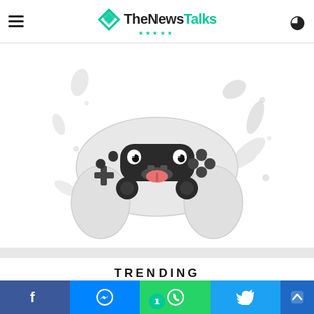TheNewsTalks
[Figure (illustration): Cartoon illustrated game controller (PlayStation style) with cute face (eyes and tongue sticking out), white body with black accents, surrounded by scattered gray splashes and particles on white background]
TRENDING
[Figure (photo): Partial view of a trending article thumbnail, cut off at bottom of page]
Social share bar: Facebook, Messenger, WhatsApp, Twitter, scroll-up button